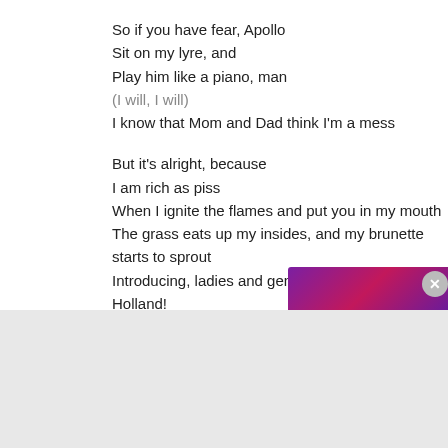So if you have fear, Apollo
Sit on my lyre, and
Play him like a piano, man
(I will, I will)
I know that Mom and Dad think I'm a mess

But it's alright, because
I am rich as piss
When I ignite the flames and put you in my mouth
The grass eats up my insides, and my brunette starts to sprout
Introducing, ladies and gentleman, Mary Jane Holland!
This song is tagged as: Electro-and Pop
[Figure (screenshot): Purple/pink advertisement banner partially visible at top right]
Publicités
[Figure (screenshot): DuckDuckGo advertisement banner with orange background, text 'Search, browse, and email with more privacy. All in One Free App' with phone mockup and DuckDuckGo logo]